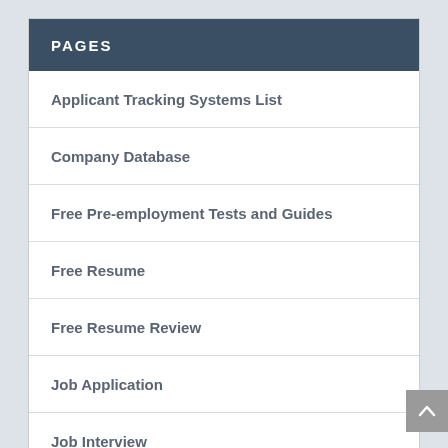PAGES
Applicant Tracking Systems List
Company Database
Free Pre-employment Tests and Guides
Free Resume
Free Resume Review
Job Application
Job Interview
Learn More About SHL Pre-employment Tests